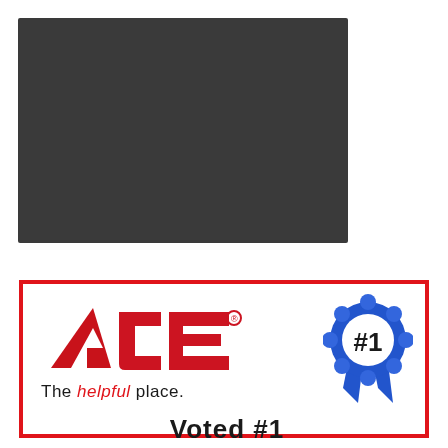[Figure (photo): Dark gray/black rectangular image placeholder in the upper left portion of the page]
[Figure (logo): ACE Hardware logo with 'The helpful place.' tagline and a blue #1 ribbon rosette, enclosed in a red border. Bottom text reads 'Voted #1']